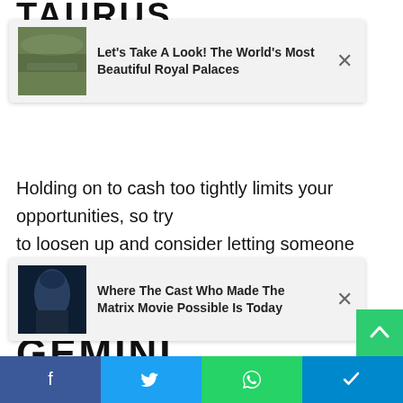TAURUS
[Figure (screenshot): Ad card 1: Image of aerial crowd at royal palace grounds. Text: Let's Take A Look! The World's Most Beautiful Royal Palaces. Close button X.]
Holding on to cash too tightly limits your opportunities, so try to loosen up and consider letting someone else help you with
[Figure (screenshot): Ad card 2: Image of a man (Matrix movie cast). Text: Where The Cast Who Made The Matrix Movie Possible Is Today. Close button X.]
You have skills that can translate into extra income, while Uranus adds creative connections to help you find the right help.
Waiting for love like a countdown.
GEMINI
May 22 to June 21
Facebook Twitter WhatsApp Telegram